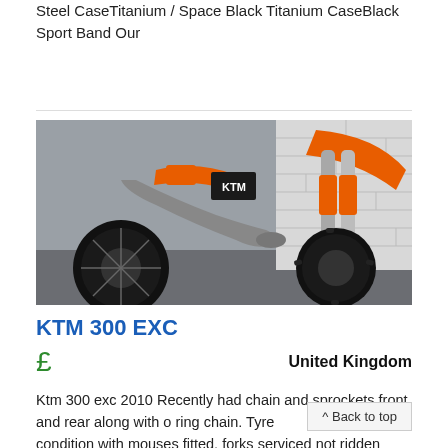Steel CaseTitanium / Space Black Titanium CaseBlack Sport Band Our
[Figure (photo): Close-up photo of an orange and black KTM dirt bike / motocross bike, showing the front forks, orange front fender, exhaust pipe, wheel with knobby tyre, parked against a white brick wall on a grey floor.]
KTM 300 EXC
£
United Kingdom
Ktm 300 exc 2010 Recently had chain and sprockets front and rear along with o ring chain. Tyre condition with mouses fitted, forks serviced not ridden since service along with new pads front and rear. Top end rebuild 38hrs ago using a ktm piston kit. V force